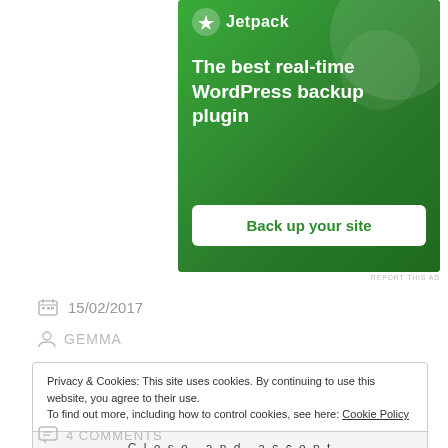[Figure (illustration): Jetpack plugin advertisement banner with green background, Jetpack logo, headline 'The best real-time WordPress backup plugin', and a 'Back up your site' button]
REPORT THIS AD
15/02/2017
GEMMA
Privacy & Cookies: This site uses cookies. By continuing to use this website, you agree to their use.
To find out more, including how to control cookies, see here: Cookie Policy
Close and accept
4 COMMENTS